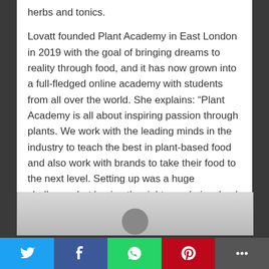herbs and tonics.
Lovatt founded Plant Academy in East London in 2019 with the goal of bringing dreams to reality through food, and it has now grown into a full-fledged online academy with students from all over the world. She explains: “Plant Academy is all about inspiring passion through plants. We work with the leading minds in the industry to teach the best in plant-based food and also work with brands to take their food to the next level. Setting up was a huge challenge, but having the right people involved at the right moment certainly helped.”
[Figure (photo): Partial view of a person, bottom portion of page showing head/shoulders, gray background]